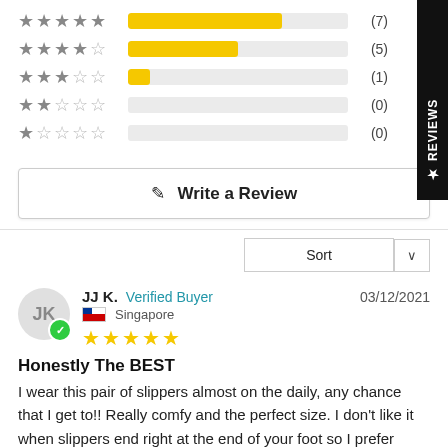[Figure (bar-chart): Star ratings distribution]
Write a Review
Sort
JJ K.  Verified Buyer  03/12/2021  Singapore
Honestly The BEST
I wear this pair of slippers almost on the daily, any chance that I get to!! Really comfy and the perfect size. I don't like it when slippers end right at the end of your foot so I prefer some space, which this pair gives (I sized up because I'm in between sizes). A simple and classic design that can't go wrong.